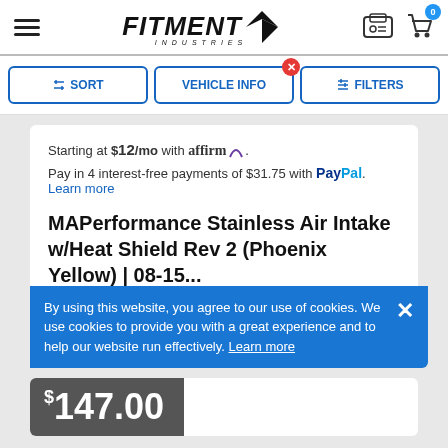Fitment Industries
SORT | VEHICLE INFO | FILTERS
Starting at $12/mo with affirm. Pay in 4 interest-free payments of $31.75 with PayPal. Learn more
MAPerformance Stainless Air Intake w/Heat Shield Rev 2 (Phoenix Yellow) | 08-15...
By using this website, you agree to our use of cookies. We use cookies to provide you with a great experience and to help our website run effectively. Learn more
$147.00